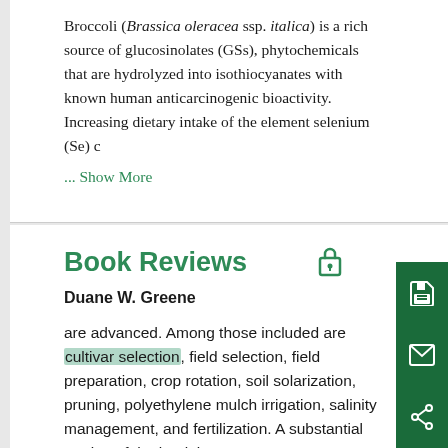Broccoli (Brassica oleracea ssp. italica) is a rich source of glucosinolates (GSs), phytochemicals that are hydrolyzed into isothiocyanates with known human anticarcinogenic bioactivity. Increasing dietary intake of the element selenium (Se) c
... Show More
Book Reviews
Duane W. Greene
are advanced. Among those included are cultivar selection, field selection, field preparation, crop rotation, soil solarization, pruning, polyethylene mulch irrigation, salinity management, and fertilization. A substantial portion of the book is